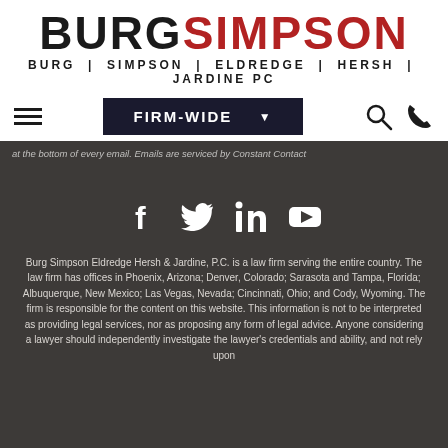[Figure (logo): Burg Simpson law firm logo — BURGSIMPSON in large text (BURG black, SIMPSON red), with BURG | SIMPSON | ELDREDGE | HERSH | JARDINE PC below in smaller spaced letters]
FIRM-WIDE (navigation bar with hamburger menu, firm-wide dropdown, search icon, phone icon)
at the bottom of every email. Emails are serviced by Constant Contact
[Figure (infographic): Social media icons row: Facebook, Twitter, LinkedIn, YouTube — white icons on dark brown background]
Burg Simpson Eldredge Hersh & Jardine, P.C. is a law firm serving the entire country. The law firm has offices in Phoenix, Arizona; Denver, Colorado; Sarasota and Tampa, Florida; Albuquerque, New Mexico; Las Vegas, Nevada; Cincinnati, Ohio; and Cody, Wyoming. The firm is responsible for the content on this website. This information is not to be interpreted as providing legal services, nor as proposing any form of legal advice. Anyone considering a lawyer should independently investigate the lawyer's credentials and ability, and not rely upon